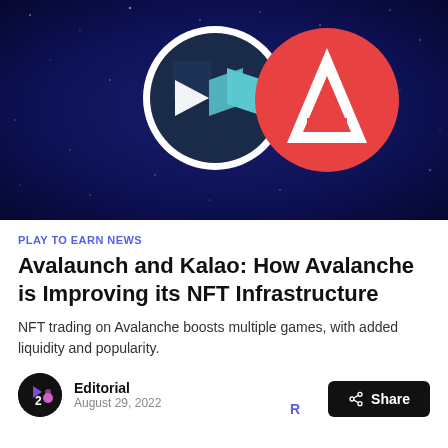[Figure (illustration): Hero image showing two overlapping logos — a dark navy/white/cyan geometric logo on the left and a red circle with a white 'A' triangle logo (Avalanche) on the right, set against a dark blue starry space background.]
PLAY TO EARN NEWS
Avalaunch and Kalao: How Avalanche is Improving its NFT Infrastructure
NFT trading on Avalanche boosts multiple games, with added liquidity and popularity.
Editorial
August 29, 2022